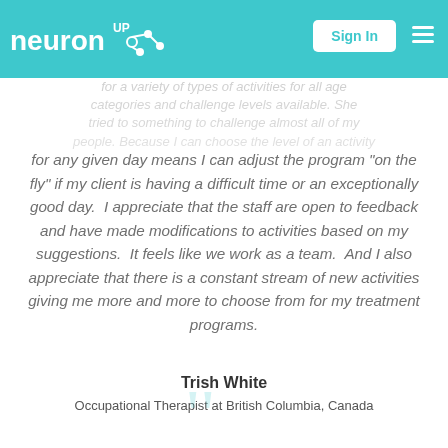neuronup - Sign In navigation bar
for any given day means I can adjust the program "on the fly" if my client is having a difficult time or an exceptionally good day. I appreciate that the staff are open to feedback and have made modifications to activities based on my suggestions. It feels like we work as a team. And I also appreciate that there is a constant stream of new activities giving me more and more to choose from for my treatment programs.
Trish White
Occupational Therapist at British Columbia, Canada